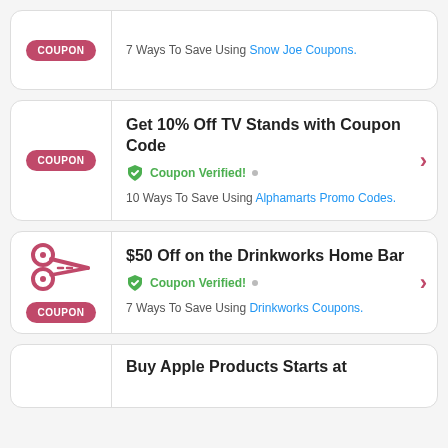COUPON | 7 Ways To Save Using Snow Joe Coupons.
COUPON | Get 10% Off TV Stands with Coupon Code | Coupon Verified! | 10 Ways To Save Using Alphamarts Promo Codes.
COUPON | $50 Off on the Drinkworks Home Bar | Coupon Verified! | 7 Ways To Save Using Drinkworks Coupons.
Buy Apple Products Starts at